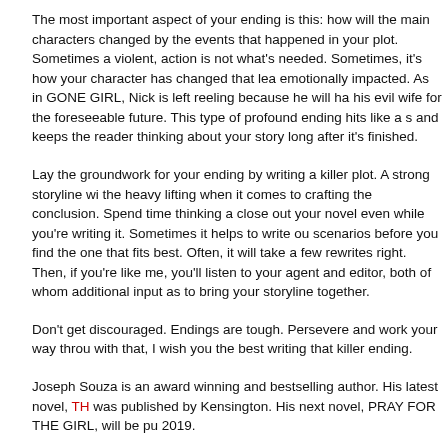The most important aspect of your ending is this: how will the main characters changed by the events that happened in your plot. Sometimes a violent, action is not what's needed. Sometimes, it's how your character has changed that lea emotionally impacted. As in GONE GIRL, Nick is left reeling because he will ha his evil wife for the foreseeable future. This type of profound ending hits like a s and keeps the reader thinking about your story long after it's finished.
Lay the groundwork for your ending by writing a killer plot. A strong storyline wi the heavy lifting when it comes to crafting the conclusion. Spend time thinking a close out your novel even while you're writing it. Sometimes it helps to write ou scenarios before you find the one that fits best. Often, it will take a few rewrites right. Then, if you're like me, you'll listen to your agent and editor, both of whom additional input as to bring your storyline together.
Don't get discouraged. Endings are tough. Persevere and work your way throu with that, I wish you the best writing that killer ending.
Joseph Souza is an award winning and bestselling author. His latest novel, THE was published by Kensington. His next novel, PRAY FOR THE GIRL, will be pu 2019.